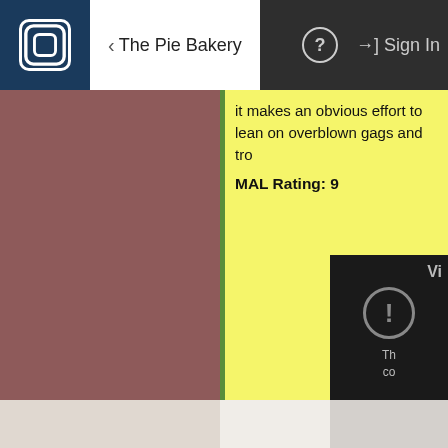The Pie Bakery | Sign In
it makes an obvious effort on overblown gags and tro
MAL Rating: 9
[Figure (screenshot): App screenshot showing navigation bar with logo, back arrow labeled 'The Pie Bakery', help icon, Sign In button, a brownish-red left image panel, yellow content panel with text, and a dark error/video overlay panel in the lower right showing an error icon.]